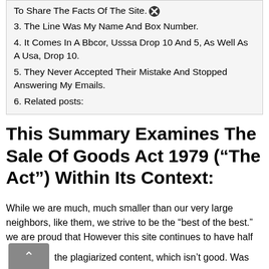To Share The Facts Of The Site.
3. The Line Was My Name And Box Number.
4. It Comes In A Bbcor, Usssa Drop 10 And 5, As Well As A Usa, Drop 10.
5. They Never Accepted Their Mistake And Stopped Answering My Emails.
6. Related posts:
This Summary Examines The Sale Of Goods Act 1979 (“The Act”) Within Its Context:
While we are much, much smaller than our very large neighbors, like them, we strive to be the “best of the best.” we are proud that However this site continues to have half the plagiarized content, which isn’t good. Was founded with an idea and hard work.